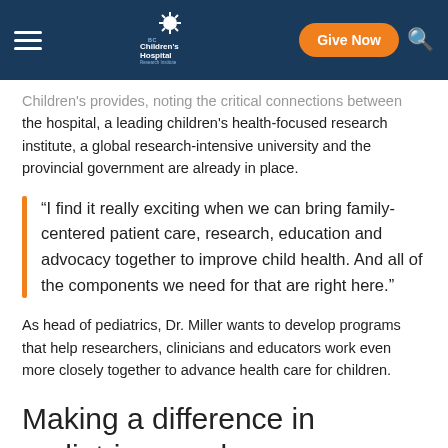BC Children's Hospital Research Institute — Give Now
Children's provides, noting the critical connections between the hospital, a leading children's health-focused research institute, a global research-intensive university and the provincial government are already in place.
“I find it really exciting when we can bring family-centered patient care, research, education and advocacy together to improve child health. And all of the components we need for that are right here.”
As head of pediatrics, Dr. Miller wants to develop programs that help researchers, clinicians and educators work even more closely together to advance health care for children.
Making a difference in pediatric neurology care